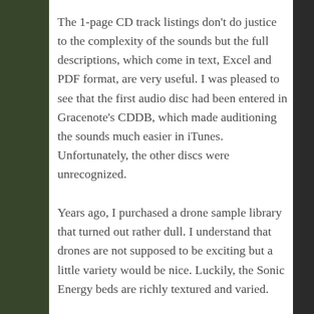The 1-page CD track listings don't do justice to the complexity of the sounds but the full descriptions, which come in text, Excel and PDF format, are very useful. I was pleased to see that the first audio disc had been entered in Gracenote's CDDB, which made auditioning the sounds much easier in iTunes. Unfortunately, the other discs were unrecognized.
Years ago, I purchased a drone sample library that turned out rather dull. I understand that drones are not supposed to be exciting but a little variety would be nice. Luckily, the Sonic Energy beds are richly textured and varied.